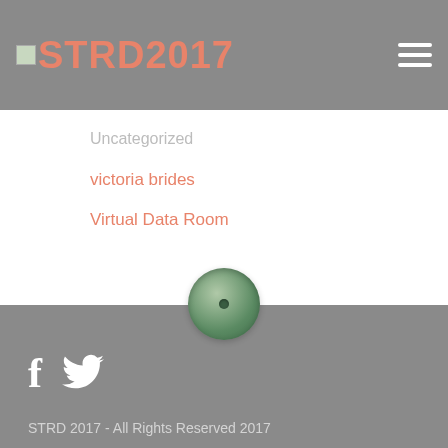STRD2017
Uncategorized
victoria brides
Virtual Data Room
[Figure (other): Green circular button/toggle icon centered between white and grey sections]
f [Facebook icon] [Twitter icon]
STRD 2017 - All Rights Reserved 2017